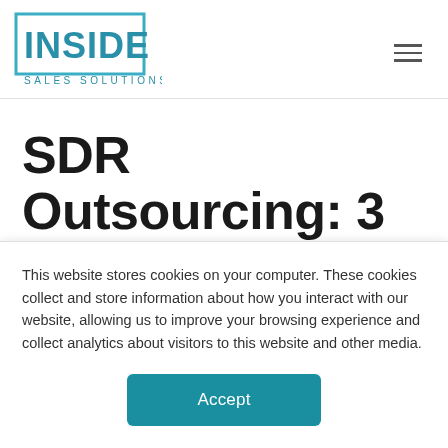[Figure (logo): Inside Sales Solutions logo — rectangular border in teal/blue with 'INSIDE' in bold teal letters and 'SALES SOLUTIONS' in smaller teal letters below]
SDR Outsourcing: 3 Reasons B2B Tech Companies
This website stores cookies on your computer. These cookies collect and store information about how you interact with our website, allowing us to improve your browsing experience and collect analytics about visitors to this website and other media.
Accept